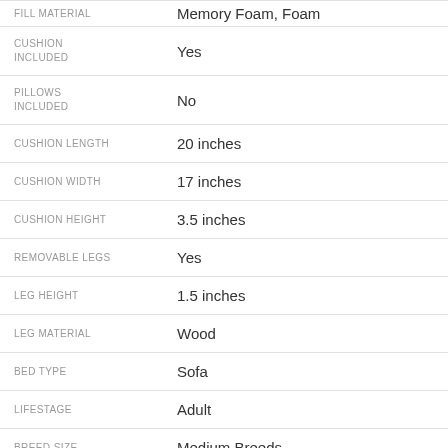| Attribute | Value |
| --- | --- |
| FILL MATERIAL | Memory Foam, Foam |
| CUSHION INCLUDED | Yes |
| PILLOWS INCLUDED | No |
| CUSHION LENGTH | 20 inches |
| CUSHION WIDTH | 17 inches |
| CUSHION HEIGHT | 3.5 inches |
| REMOVABLE LEGS | Yes |
| LEG HEIGHT | 1.5 inches |
| LEG MATERIAL | Wood |
| BED TYPE | Sofa |
| LIFESTAGE | Adult |
| BREED SIZE | Medium Breeds |